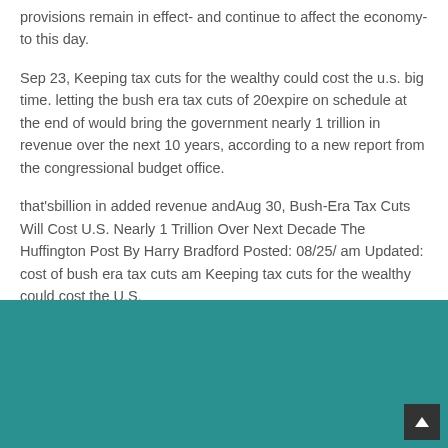provisions remain in effect- and continue to affect the economy- to this day.
Sep 23, Keeping tax cuts for the wealthy could cost the u.s. big time. letting the bush era tax cuts of 20expire on schedule at the end of would bring the government nearly 1 trillion in revenue over the next 10 years, according to a new report from the congressional budget office.
that'sbillion in added revenue andAug 30, Bush-Era Tax Cuts Will Cost U.S. Nearly 1 Trillion Over Next Decade The Huffington Post By Harry Bradford Posted: 08/25/ am Updated: cost of bush era tax cuts am Keeping tax cuts for the wealthy could cost the U.S.
big time. Letting the Bush-era tax cuts of 20expire on.